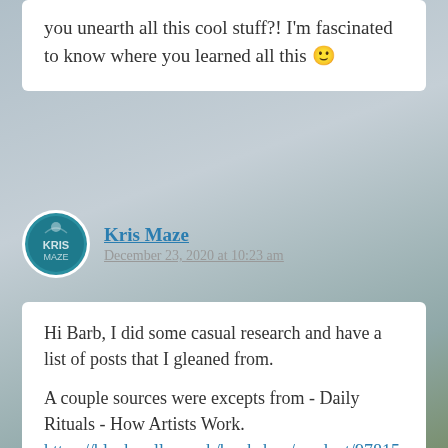you unearth all this cool stuff?! I'm fascinated to know where you learned all this 🙂
Kris Maze
December 23, 2020 at 10:23 am
Hi Barb, I did some casual research and have a list of posts that I gleaned from.

A couple sources were excepts from - Daily Rituals - How Artists Work.
https://blackwells.co.uk/bookshop/product/97815...gC=098f6bcd4&gclid=CjwKCAiA8ov_BRAoEiwAOZq...dWp86o1d4gz0vN6xoC5VkQAvD_BwE

And several posts from Maia Popova's